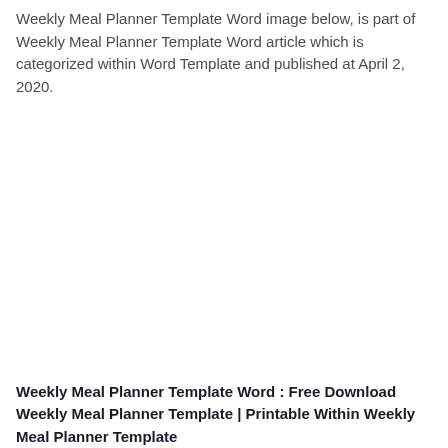Weekly Meal Planner Template Word image below, is part of Weekly Meal Planner Template Word article which is categorized within Word Template and published at April 2, 2020.
Weekly Meal Planner Template Word : Free Download Weekly Meal Planner Template | Printable Within Weekly Meal Planner Template